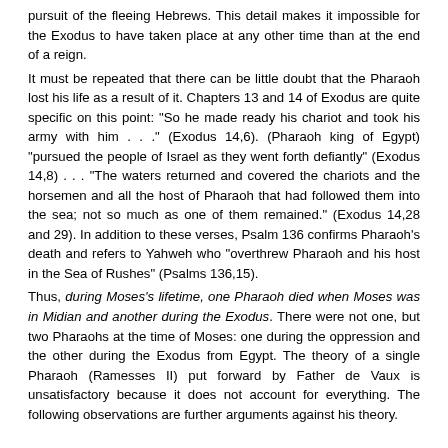pursuit of the fleeing Hebrews. This detail makes it impossible for the Exodus to have taken place at any other time than at the end of a reign.
It must be repeated that there can be little doubt that the Pharaoh lost his life as a result of it. Chapters 13 and 14 of Exodus are quite specific on this point: "So he made ready his chariot and took his army with him . . ." (Exodus 14,6). (Pharaoh king of Egypt) "pursued the people of Israel as they went forth defiantly" (Exodus 14,8) . . . "The waters returned and covered the chariots and the horsemen and all the host of Pharaoh that had followed them into the sea; not so much as one of them remained." (Exodus 14,28 and 29). In addition to these verses, Psalm 136 confirms Pharaoh's death and refers to Yahweh who "overthrew Pharaoh and his host in the Sea of Rushes" (Psalms 136,15).
Thus, during Moses's lifetime, one Pharaoh died when Moses was in Midian and another during the Exodus. There were not one, but two Pharaohs at the time of Moses: one during the oppression and the other during the Exodus from Egypt. The theory of a single Pharaoh (Ramesses II) put forward by Father de Vaux is unsatisfactory because it does not account for everything. The following observations are further arguments against his theory.